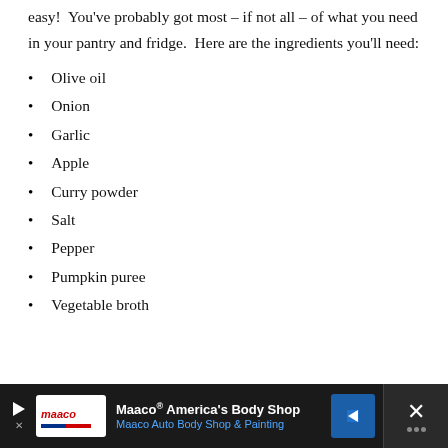easy!  You've probably got most – if not all – of what you need in your pantry and fridge.  Here are the ingredients you'll need:
Olive oil
Onion
Garlic
Apple
Curry powder
Salt
Pepper
Pumpkin puree
Vegetable broth
[Figure (other): Advertisement banner for Maaco America's Body Shop with logo, tagline 'Maaco Auto Body Shop & Painting', navigation arrow icon, and close button]